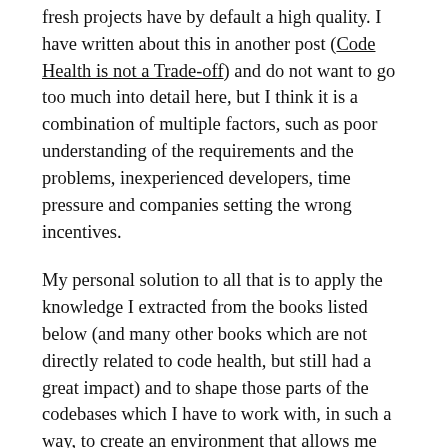fresh projects have by default a high quality. I have written about this in another post (Code Health is not a Trade-off) and do not want to go too much into detail here, but I think it is a combination of multiple factors, such as poor understanding of the requirements and the problems, inexperienced developers, time pressure and companies setting the wrong incentives.
My personal solution to all that is to apply the knowledge I extracted from the books listed below (and many other books which are not directly related to code health, but still had a great impact) and to shape those parts of the codebases which I have to work with, in such a way, to create an environment that allows me (and other developers) to perform at the highest level of productivity. The problem here is that this is not always easy and too often there are external factors involved which